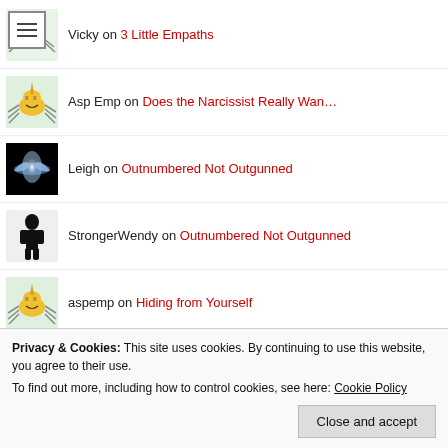Vicky on 3 Little Empaths
Asp Emp on Does the Narcissist Really Wan…
Leigh on Outnumbered Not Outgunned
StrongerWendy on Outnumbered Not Outgunned
aspemp on Hiding from Yourself
Truthseeker6157 on Hiding from Yourself
(partially visible)
Privacy & Cookies: This site uses cookies. By continuing to use this website, you agree to their use.
To find out more, including how to control cookies, see here: Cookie Policy
Close and accept